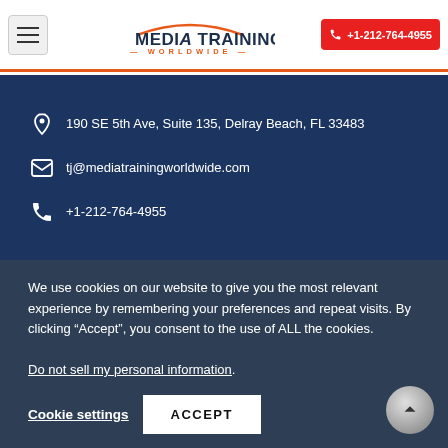Media Training Worldwide | +1-212-764-4955
190 SE 5th Ave, Suite 135, Delray Beach, FL 33483
tj@mediatrainingworldwide.com
+1-212-764-4955
We use cookies on our website to give you the most relevant experience by remembering your preferences and repeat visits. By clicking “Accept”, you consent to the use of ALL the cookies. Do not sell my personal information.
Cookie settings | ACCEPT